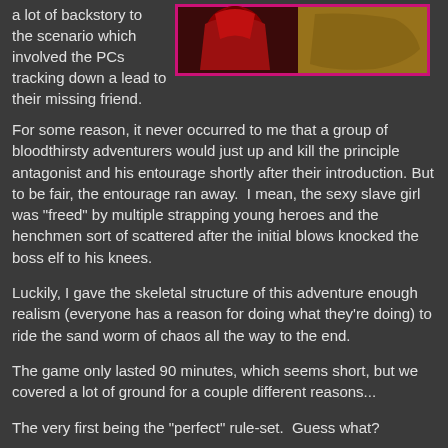a lot of backstory to the scenario which involved the PCs tracking down a lead to their missing friend.
[Figure (photo): A dark fantasy image showing a figure in red/crimson costume or armor, with dramatic lighting against a warm brown/gold background. Pink/magenta border frame.]
For some reason, it never occurred to me that a group of bloodthirsty adventurers would just up and kill the principle antagonist and his entourage shortly after their introduction. But to be fair, the entourage ran away.  I mean, the sexy slave girl was "freed" by multiple strapping young heroes and the henchmen sort of scattered after the initial blows knocked the boss elf to his knees.
Luckily, I gave the skeletal structure of this adventure enough realism (everyone has a reason for doing what they're doing) to ride the sand worm of chaos all the way to the end.
The game only lasted 90 minutes, which seems short, but we covered a lot of ground for a couple different reasons...
The very first being the "perfect" rule-set.  Guess what?